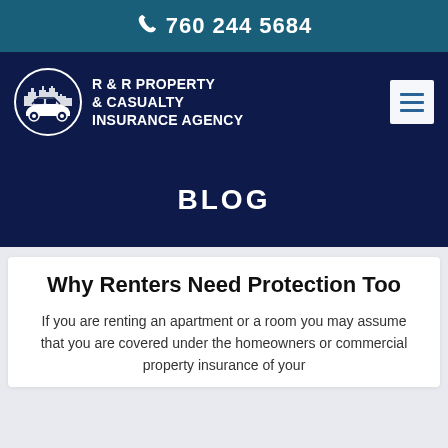📞 760 244 5684
[Figure (logo): R & R Property & Casualty Insurance Agency logo with car and city skyline in circular emblem]
BLOG
Why Renters Need Protection Too
If you are renting an apartment or a room you may assume that you are covered under the homeowners or commercial property insurance of your